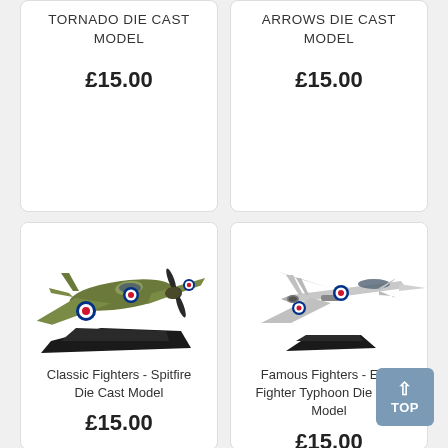TORNADO DIE CAST MODEL
£15.00
ARROWS DIE CAST MODEL
£15.00
[Figure (photo): Die cast model of a Classic Fighters Spitfire aircraft in olive green camouflage with RAF roundels, mounted on a black display stand.]
Classic Fighters - Spitfire Die Cast Model
£15.00
[Figure (photo): Die cast model of a Famous Fighters Euro Fighter Typhoon aircraft in silver/grey finish with roundels, mounted on a black display stand.]
Famous Fighters - Euro Fighter Typhoon Die Cast Model
£15.00